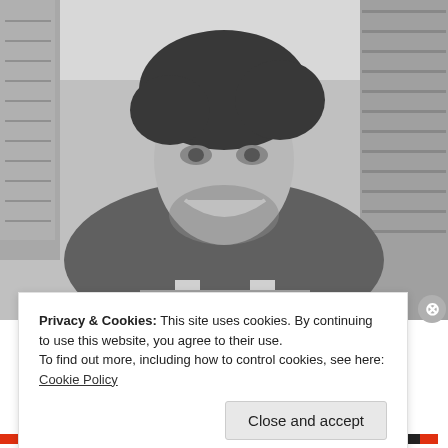[Figure (photo): Black and white photograph of a young man with medium-length wavy dark hair, smiling broadly, wearing a tank top, leaning forward, with urban buildings visible in the background.]
Privacy & Cookies: This site uses cookies. By continuing to use this website, you agree to their use.
To find out more, including how to control cookies, see here: Cookie Policy
Close and accept